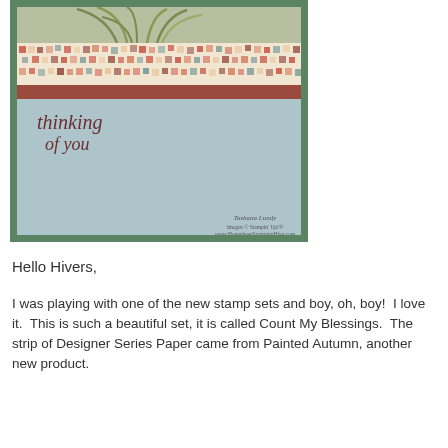[Figure (photo): A handmade greeting card featuring a palm/tropical plant stamp at top on a green background, a strip of colorful mosaic/tile patterned Designer Series Paper in autumnal colors (rust, teal, cream squares), a rust-colored horizontal band, and a light blue-grey lower panel with 'thinking of you' written in script calligraphy. Signed by Tashana Lundy with Stampin' Up! branding and website www.HoneybeesStampingHive.com.]
Hello Hivers,
I was playing with one of the new stamp sets and boy, oh, boy!  I love it.  This is such a beautiful set, it is called Count My Blessings.  The strip of Designer Series Paper came from Painted Autumn, another new product.